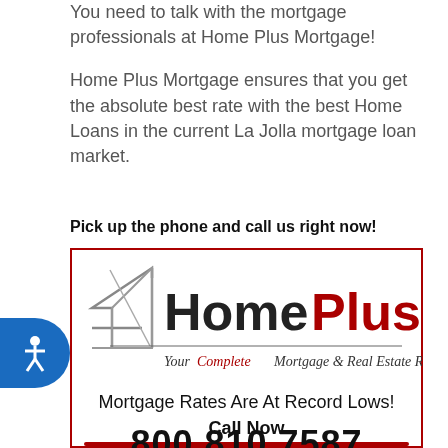You need to talk with the mortgage professionals at Home Plus Mortgage!
Home Plus Mortgage ensures that you get the absolute best rate with the best Home Loans in the current La Jolla mortgage loan market.
Pick up the phone and call us right now!
[Figure (logo): Home Plus Mortgage logo with house arrow graphic, tagline 'Your Complete Mortgage & Real Estate Resource', text 'Mortgage Rates Are At Record Lows!', 'Call Now', and phone number 800.810.7587 in a red-bordered box]